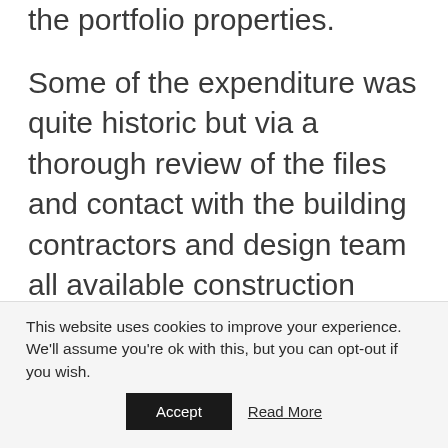the portfolio properties.
Some of the expenditure was quite historic but via a thorough review of the files and contact with the building contractors and design team all available construction information and documentation was obtained and in conjunction with the information from detailed surveys of each property, cost estimates and capital allowances reports
This website uses cookies to improve your experience. We'll assume you're ok with this, but you can opt-out if you wish.